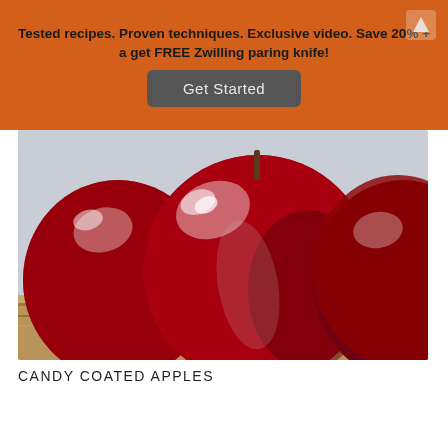Tested recipes. Proven techniques. Exclusive video. Save 20% + a get FREE Zwilling paring knife!
[Figure (other): A button labeled 'Get Started' with rounded rectangle dark gray background]
[Figure (photo): Close-up photograph of shiny red candy-coated apples on a wooden surface]
CANDY COATED APPLES